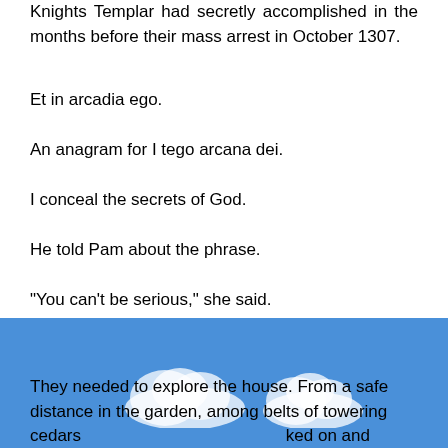Knights Templar had secretly accomplished in the months before their mass arrest in October 1307.
Et in arcadia ego.
An anagram for I tego arcana dei.
I conceal the secrets of God.
He told Pam about the phrase.
"You can't be serious," she said.
He shrugged. "Just telling you what I know."
They needed to explore the house. From a safe distance in the garden, among belts of towering cedars [obscured] ked on and of [obscured] Doors